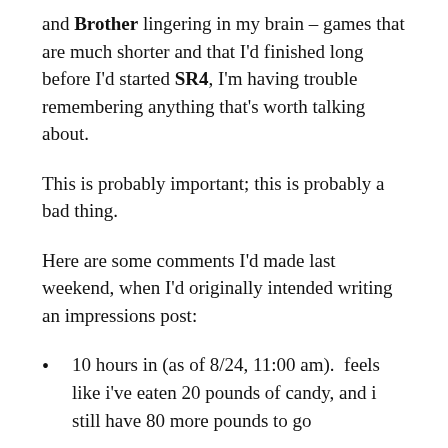and Brother lingering in my brain – games that are much shorter and that I'd finished long before I'd started SR4, I'm having trouble remembering anything that's worth talking about.
This is probably important; this is probably a bad thing.
Here are some comments I'd made last weekend, when I'd originally intended writing an impressions post:
10 hours in (as of 8/24, 11:00 am).  feels like i've eaten 20 pounds of candy, and i still have 80 more pounds to go